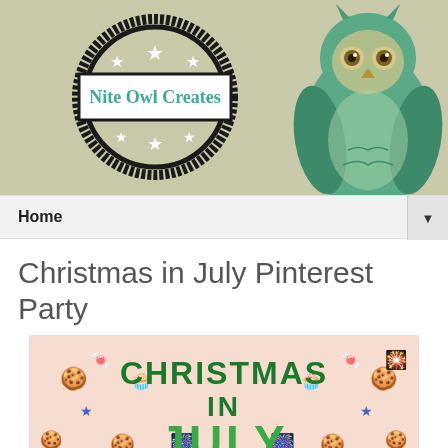[Figure (logo): Nite Owl Creates blog header banner with stamp logo and illustrated green owl]
Home ▼
Christmas in July Pinterest Party
[Figure (illustration): Christmas in July promotional graphic with gingerbread men, candy canes, fireworks on pink background with green text reading CHRISTMAS IN JULY]